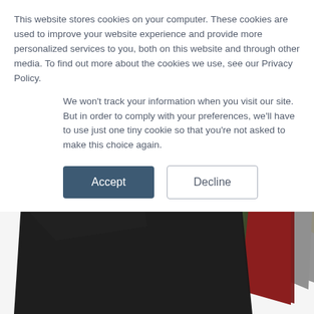This website stores cookies on your computer. These cookies are used to improve your website experience and provide more personalized services to you, both on this website and through other media. To find out more about the cookies we use, see our Privacy Policy.
We won't track your information when you visit our site. But in order to comply with your preferences, we'll have to use just one tiny cookie so that you're not asked to make this choice again.
[Figure (other): Two buttons: 'Accept' (dark blue filled) and 'Decline' (white with border)]
[Figure (photo): Fanned out fabric swatches in multiple colors: black, dark green, purple, dark red/maroon, gray, yellow, partially visible at the top]